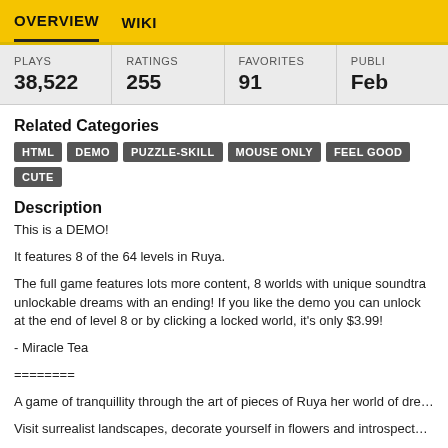OVERVIEW  WIKI
| PLAYS | RATINGS | FAVORITES | PUBLI… |
| --- | --- | --- | --- |
| 38,522 | 255 | 91 | Feb … |
Related Categories
HTML
DEMO
PUZZLE-SKILL
MOUSE ONLY
FEEL GOOD
CUTE
Description
This is a DEMO!
It features 8 of the 64 levels in Ruya.
The full game features lots more content, 8 worlds with unique soundtra… unlockable dreams with an ending! If you like the demo you can unlock… at the end of level 8 or by clicking a locked world, it's only $3.99!
- Miracle Tea
========
A game of tranquillity through the art of pieces of Ruya her world of dre…
Visit surrealist landscapes, decorate yourself in flowers and introspect...